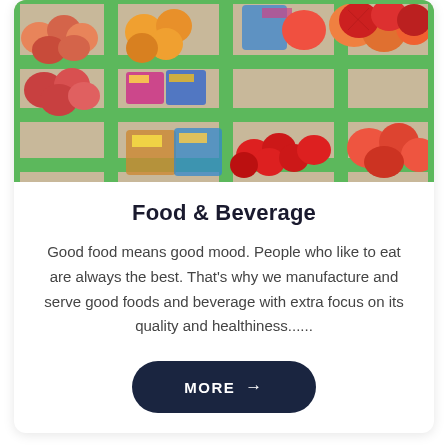[Figure (photo): Overhead view of green plastic market crates filled with various fruits including apples, peaches, oranges, and strawberries at a produce market]
Food & Beverage
Good food means good mood. People who like to eat are always the best. That’s why we manufacture and serve good foods and beverage with extra focus on its quality and healthiness......
MORE →